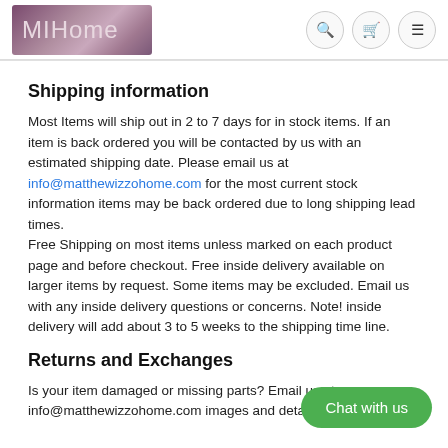MIHome
Shipping information
Most Items will ship out in 2 to 7 days for in stock items. If an item is back ordered you will be contacted by us with an estimated shipping date. Please email us at info@matthewizzohome.com for the most current stock information items may be back ordered due to long shipping lead times.
Free Shipping on most items unless marked on each product page and before checkout. Free inside delivery available on larger items by request. Some items may be excluded. Email us with any inside delivery questions or concerns. Note! inside delivery will add about 3 to 5 weeks to the shipping time line.
Returns and Exchanges
Is your item damaged or missing parts? Email us at info@matthewizzohome.com images and details of